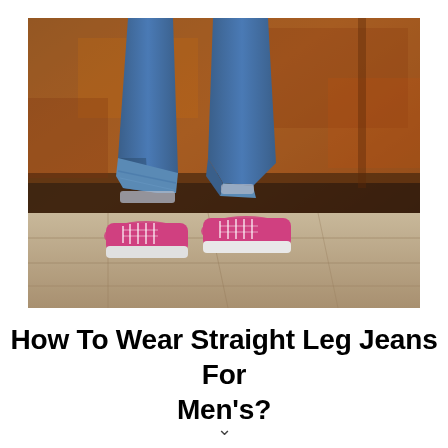[Figure (photo): Close-up photo of person's legs wearing blue straight-leg jeans with cuffed hems and pink canvas sneakers, standing on stone pavement with a rusty brown metal wall in the background.]
How To Wear Straight Leg Jeans For Men's?